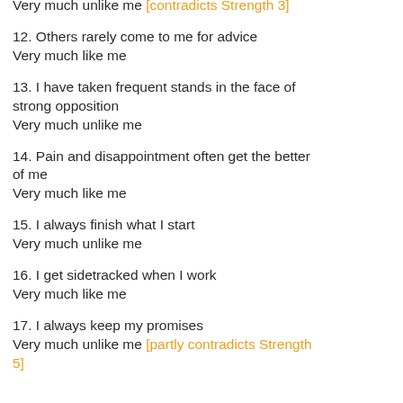Very much unlike me [contradicts Strength 3]
12. Others rarely come to me for advice
Very much like me
13. I have taken frequent stands in the face of strong opposition
Very much unlike me
14. Pain and disappointment often get the better of me
Very much like me
15. I always finish what I start
Very much unlike me
16. I get sidetracked when I work
Very much like me
17. I always keep my promises
Very much unlike me [partly contradicts Strength 5]